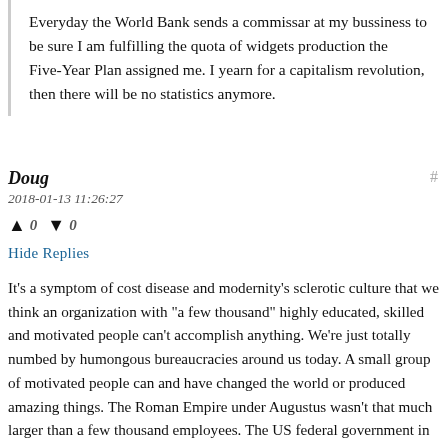Everyday the World Bank sends a commissar at my bussiness to be sure I am fulfilling the quota of widgets production the Five-Year Plan assigned me. I yearn for a capitalism revolution, then there will be no statistics anymore.
Doug
2018-01-13 11:26:27
▲ 0 ▼ 0
Hide Replies
It's a symptom of cost disease and modernity's sclerotic culture that we think an organization with "a few thousand" highly educated, skilled and motivated people can't accomplish anything. We're just totally numbed by humongous bureaucracies around us today. A small group of motivated people can and have changed the world or produced amazing things. The Roman Empire under Augustus wasn't that much larger than a few thousand employees. The US federal government in 1800 numbered only about 150 employees. Facebook, the sixth largest company in America, has fewer